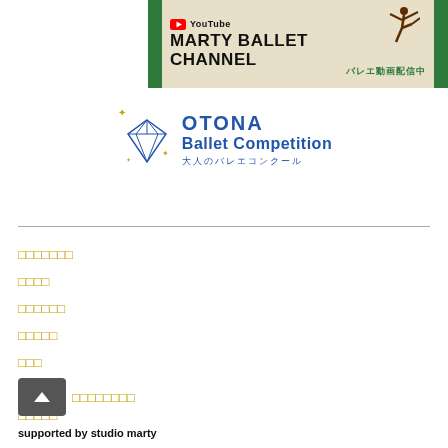[Figure (illustration): YouTube Marty Ballet Channel banner with green side bars, beige background, YouTube logo, bold text 'MARTY BALLET CHANNEL', Japanese text 'バレエ動画配信中', and a silhouette of a ballet dancer]
[Figure (logo): OTONA Ballet Competition logo with blue diamond gem icon and sparkles, text 'OTONA Ballet Competition' in blue, Japanese subtitle '大人のバレエコンクール']
□□□□□□□
□□□□
□□□□□□
□□□□□
□□□
□□□□□
□□□□□
□□□□□□□□
supported by studio marty